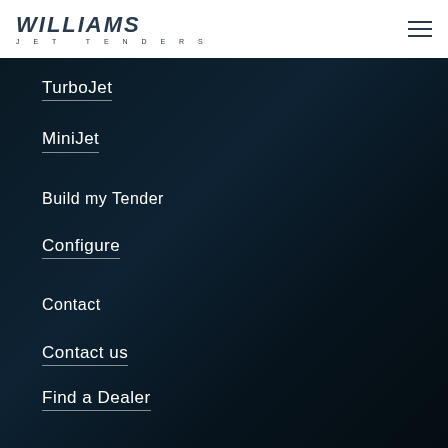WILLIAMS JET TENDERS
TurboJet
MiniJet
Build my Tender
Configure
Contact
Contact us
Find a Dealer
Newsletter Signup